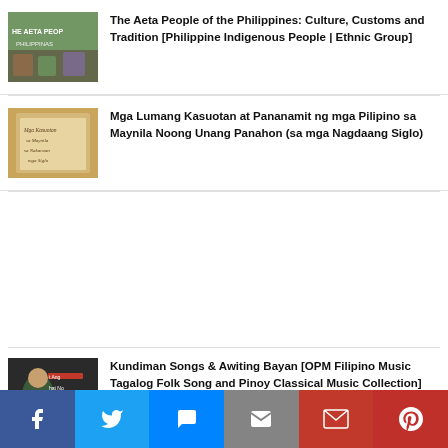[Figure (photo): Thumbnail image for The Aeta People of the Philippines article showing people in traditional dress with text overlay]
The Aeta People of the Philippines: Culture, Customs and Tradition [Philippine Indigenous People | Ethnic Group]
[Figure (photo): Thumbnail image for Mga Lumang Kasuotan article showing old handwritten document]
Mga Lumang Kasuotan at Pananamit ng mga Pilipino sa Maynila Noong Unang Panahon (sa mga Nagdaang Siglo)
[Figure (photo): Thumbnail image for Kundiman Songs article showing Filipino singer performing]
Kundiman Songs & Awiting Bayan [OPM Filipino Music Tagalog Folk Song and Pinoy Classical Music Collection]